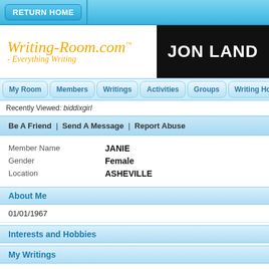RETURN HOME
[Figure (logo): WritingRoom.com logo with italic orange text and tagline 'Everything Writing']
[Figure (logo): JON LAND black banner with white bold text]
My Room | Members | Writings | Activities | Groups | Writing How To
Recently Viewed: biddixgirl
Be A Friend | Send A Message | Report Abuse
| Member Name | JANIE |
| Gender | Female |
| Location | ASHEVILLE |
About Me
01/01/1967
Interests and Hobbies
My Writings